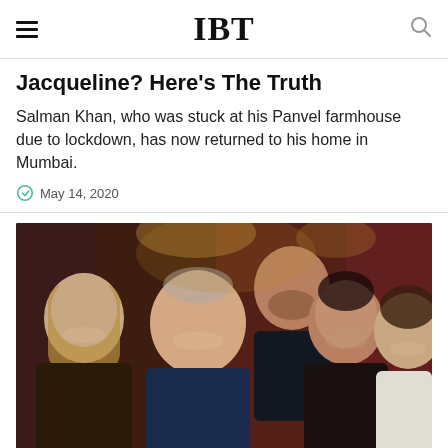IBT
Jacqueline? Here's The Truth
Salman Khan, who was stuck at his Panvel farmhouse due to lockdown, has now returned to his home in Mumbai.
May 14, 2020
[Figure (photo): Group photo of five people smiling, taken indoors with warm reddish ambient lighting. Three women and two men are visible, standing close together.]